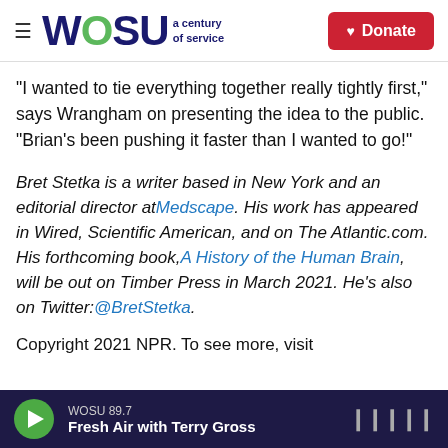WOSU a century of service | Donate
"I wanted to tie everything together really tightly first," says Wrangham on presenting the idea to the public. "Brian's been pushing it faster than I wanted to go!"
Bret Stetka is a writer based in New York and an editorial director at Medscape. His work has appeared in Wired, Scientific American, and on The Atlantic.com. His forthcoming book, A History of the Human Brain, will be out on Timber Press in March 2021. He's also on Twitter: @BretStetka.
Copyright 2021 NPR. To see more, visit
WOSU 89.7 | Fresh Air with Terry Gross